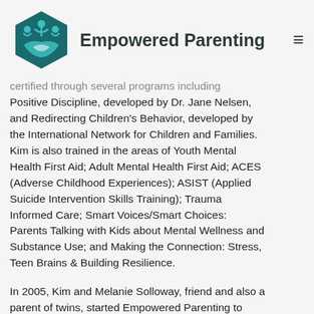[Figure (logo): Empowered Parenting logo: teal hexagonal emblem with stylized figures and open hands, beside bold text 'Empowered Parenting']
certified through several programs including Positive Discipline, developed by Dr. Jane Nelsen, and Redirecting Children's Behavior, developed by the International Network for Children and Families. Kim is also trained in the areas of Youth Mental Health First Aid; Adult Mental Health First Aid; ACES (Adverse Childhood Experiences); ASIST (Applied Suicide Intervention Skills Training); Trauma Informed Care; Smart Voices/Smart Choices: Parents Talking with Kids about Mental Wellness and Substance Use; and Making the Connection: Stress, Teen Brains & Building Resilience.
In 2005, Kim and Melanie Solloway, friend and also a parent of twins, started Empowered Parenting to share their passion for helping families. Kim supports the parenting community by providing workshops